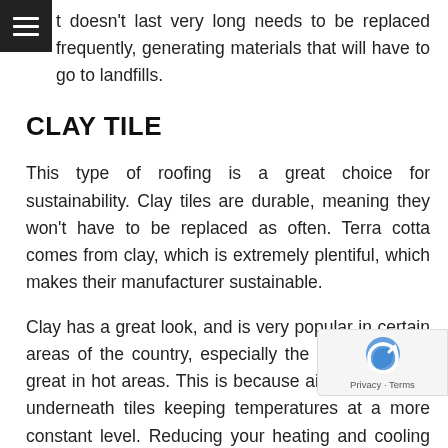t doesn't last very long needs to be replaced frequently, generating materials that will have to go to landfills.
CLAY TILE
This type of roofing is a great choice for sustainability. Clay tiles are durable, meaning they won't have to be replaced as often. Terra cotta comes from clay, which is extremely plentiful, which makes their manufacturer sustainable.
Clay has a great look, and is very popular in certain areas of the country, especially the southwest. It's great in hot areas. This is because air can circulate underneath tiles keeping temperatures at a more constant level. Reducing your heating and cooling costs certainly aids in